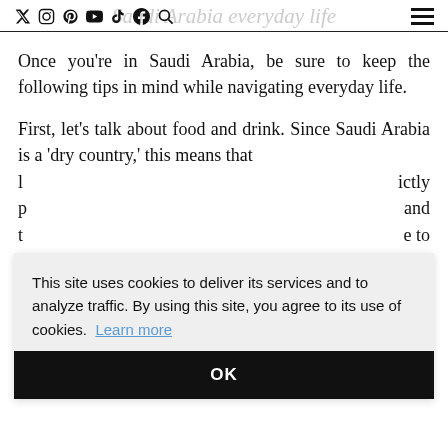Saudi Arabia Everyday Life — navigation bar with social icons and hamburger menu
Once you're in Saudi Arabia, be sure to keep the following tips in mind while navigating everyday life.
First, let's talk about food and drink. Since Saudi Arabia is a 'dry country,' this means that l[...partially obscured...]ictly b[...partially obscured...]and t[...partially obscured...]e to t[...partially obscured...]be i[...partially obscured...]der, t[...partially obscured...]lubs or this in the country either.
This site uses cookies to deliver its services and to analyze traffic. By using this site, you agree to its use of cookies. Learn more
OK